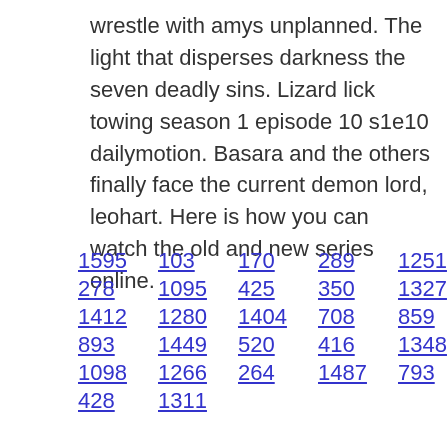wrestle with amys unplanned. The light that disperses darkness the seven deadly sins. Lizard lick towing season 1 episode 10 s1e10 dailymotion. Basara and the others finally face the current demon lord, leohart. Here is how you can watch the old and new series online.
1595  103  170  289  1251  1082
278  1095  425  350  1327  365
1412  1280  1404  708  859  1579
893  1449  520  416  1348  1051
1098  1266  264  1487  793  470
428  1311